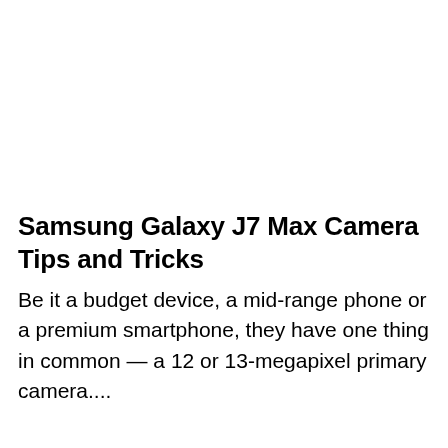Samsung Galaxy J7 Max Camera Tips and Tricks
Be it a budget device, a mid-range phone or a premium smartphone, they have one thing in common — a 12 or 13-megapixel primary camera....